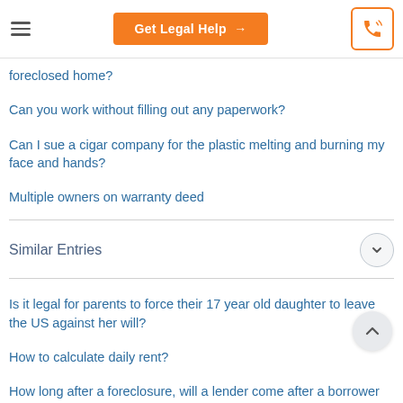Get Legal Help →
foreclosed home?
Can you work without filling out any paperwork?
Can I sue a cigar company for the plastic melting and burning my face and hands?
Multiple owners on warranty deed
Similar Entries
Is it legal for parents to force their 17 year old daughter to leave the US against her will?
How to calculate daily rent?
How long after a foreclosure, will a lender come after a borrower for a deficiency?
Does jury duty constitute part-time employment?